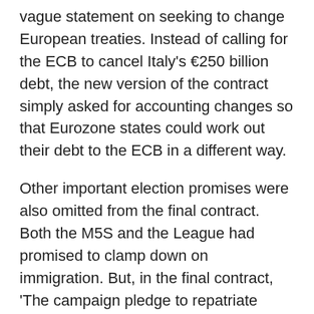vague statement on seeking to change European treaties. Instead of calling for the ECB to cancel Italy's €250 billion debt, the new version of the contract simply asked for accounting changes so that Eurozone states could work out their debt to the ECB in a different way.
Other important election promises were also omitted from the final contract. Both the M5S and the League had promised to clamp down on immigration. But, in the final contract, 'The campaign pledge to repatriate 600,000 undocumented migrants currently in Italy no longer appears', as ANSA noted. Dimitris Avramopoulos, the EU's migration and home affairs commissioner, stressed the importance of Italy sticking to its responsibilities on migration, provoking Salvini to say: 'From Europe, we have the umpteenth unacceptable interference by unelected officials.'